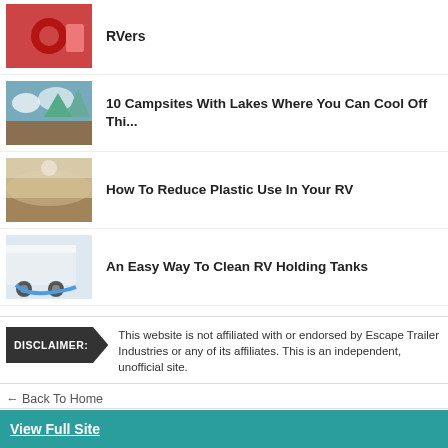RVers
10 Campsites With Lakes Where You Can Cool Off Thi...
How To Reduce Plastic Use In Your RV
An Easy Way To Clean RV Holding Tanks
DISCLAIMER: This website is not affiliated with or endorsed by Escape Trailer Industries or any of its affiliates. This is an independent, unofficial site.
← Back To Home
Copyright 2012 Social Knowledge, LLC All Rights Reserved.
View Full Site